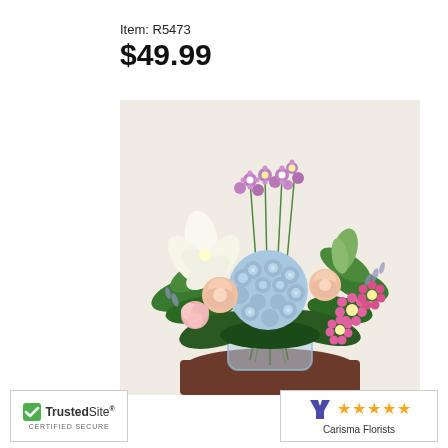Item: R5473
$49.99
[Figure (photo): A floral arrangement in a clear cylindrical vase on a wooden table. The bouquet includes a blue hydrangea, white lilies, peach roses, pink carnations, purple/pink daisy-like flowers, and green foliage against a light beige background.]
TrustedSite CERTIFIED SECURE
★★★★★ Carisma Florists